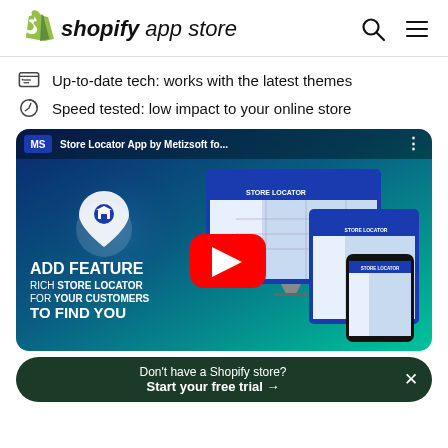shopify app store
Up-to-date tech: works with the latest themes
Speed tested: low impact to your online store
[Figure (screenshot): YouTube video thumbnail for Store Locator App by Metizsoft for Shopify, showing laptop, phone, and tablet screens with map/store locator interface, ADD FEATURE RICH STORE LOCATOR FOR YOUR CUSTOMERS TO FIND YOU text, YouTube play button]
Don't have a Shopify store? Start your free trial →